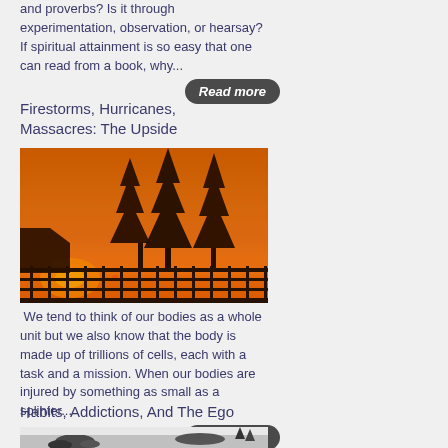and proverbs? Is it through experimentation, observation, or hearsay? If spiritual attainment is so easy that one can read from a book, why...
Read more
Firestorms, Hurricanes, Massacres: The Upside
[Figure (photo): Orange-hued sky with silhouettes of tall pine trees and a fence railing, depicting a wildfire scene]
We tend to think of our bodies as a whole unit but we also know that the body is made up of trillions of cells, each with a task and a mission. When our bodies are injured by something as small as a splinter...
Read more
Habits, Addictions, And The Ego
[Figure (photo): Black and white illustration or photo showing figures in snowy or icy landscape]